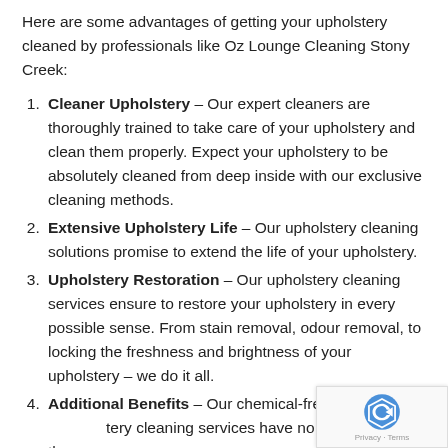Here are some advantages of getting your upholstery cleaned by professionals like Oz Lounge Cleaning Stony Creek:
Cleaner Upholstery – Our expert cleaners are thoroughly trained to take care of your upholstery and clean them properly. Expect your upholstery to be absolutely cleaned from deep inside with our exclusive cleaning methods.
Extensive Upholstery Life – Our upholstery cleaning solutions promise to extend the life of your upholstery.
Upholstery Restoration – Our upholstery cleaning services ensure to restore your upholstery in every possible sense. From stain removal, odour removal, to locking the freshness and brightness of your upholstery – we do it all.
Additional Benefits – Our chemical-free upholstery cleaning services have no side effects on the